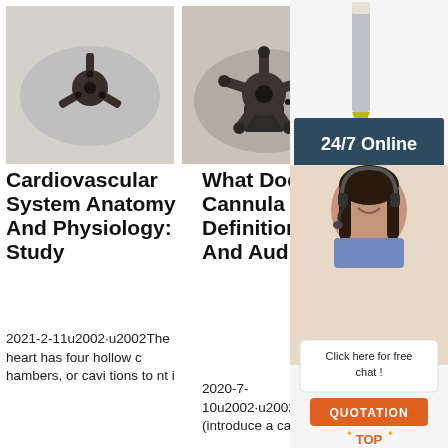[Figure (photo): Close-up photo of a small dark metallic crosshead/drill bit piece on a light surface]
[Figure (photo): Close-up photo of a larger dark metallic multi-pronged cannula or drill piece on a surface]
[Figure (photo): Advertisement sidebar: 24/7 Online chat service with a woman wearing a headset, with 'Click here for free chat!' and 'QUOTATION' button, and a TOP logo]
Cardiovascular System Anatomy And Physiology: Study
2021-2-11u2002·u2002The heart has four hollow chambers, or cavi tions to nt i
What Does Cannula Mean? Definition, Meaning And Audio ...
2020-7-10u2002·u2002cannulate (introduce a can nulate into)
Mic 20: Stu Fla
Midterm EMS 20 9 & 205 Study G uide. STUDY. PL AY. Depolarizatio n, the process by which a fi